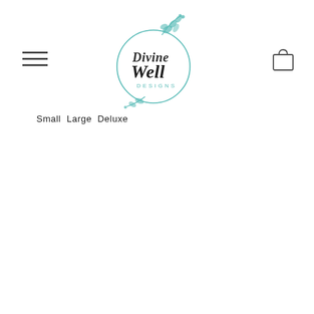[Figure (logo): Divine Well Designs logo: a circular teal/turquoise botanical illustration with leaves and the handwritten text 'Divine Well DESIGNS' inside a circle]
[Figure (other): Hamburger menu icon (three horizontal lines) in the top left]
[Figure (other): Shopping bag/cart icon in the top right]
Small  Large  Deluxe